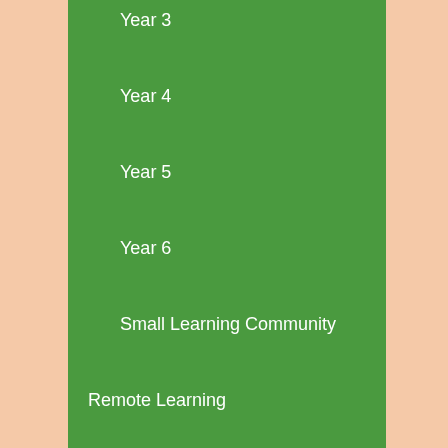Year 3
Year 4
Year 5
Year 6
Small Learning Community
Remote Learning
Subjects
Maths
Reading
Writing